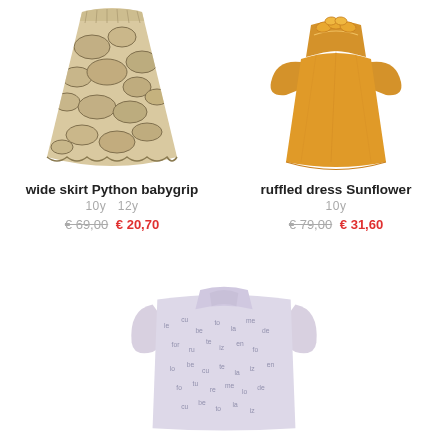[Figure (photo): Wide skirt with python/snake skin pattern in beige and dark gray tones, children's fashion item]
[Figure (photo): Ruffled dress in sunflower/mustard yellow color with ruffle collar, children's fashion item]
wide skirt Python babygrip
10y  12y
€ 69,00  € 20,70
ruffled dress Sunflower
10y
€ 79,00  € 31,60
[Figure (photo): Light purple/lavender blouse with small text/letter print pattern, long sleeves, children's fashion item, partially shown]